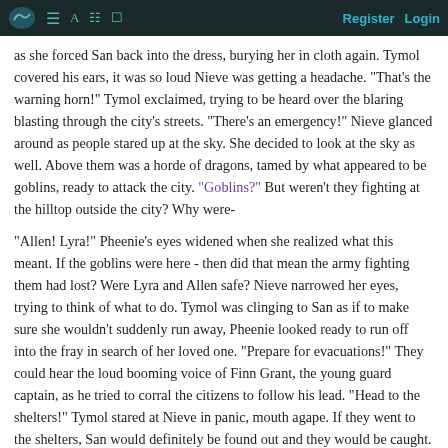Register   Login
as she forced San back into the dress, burying her in cloth again. Tymol covered his ears, it was so loud Nieve was getting a headache. "That's the warning horn!" Tymol exclaimed, trying to be heard over the blaring blasting through the city's streets. "There's an emergency!" Nieve glanced around as people stared up at the sky. She decided to look at the sky as well. Above them was a horde of dragons, tamed by what appeared to be goblins, ready to attack the city. "Goblins?" But weren't they fighting at the hilltop outside the city? Why were-
"Allen! Lyra!" Pheenie's eyes widened when she realized what this meant. If the goblins were here - then did that mean the army fighting them had lost? Were Lyra and Allen safe? Nieve narrowed her eyes, trying to think of what to do. Tymol was clinging to San as if to make sure she wouldn't suddenly run away, Pheenie looked ready to run off into the fray in search of her loved one. "Prepare for evacuations!" They could hear the loud booming voice of Finn Grant, the young guard captain, as he tried to corral the citizens to follow his lead. "Head to the shelters!" Tymol stared at Nieve in panic, mouth agape. If they went to the shelters, San would definitely be found out and they would be caught. This was a disaster! "Tymol, stay with San and get in the house, you know where it is. Pheenie and I have to